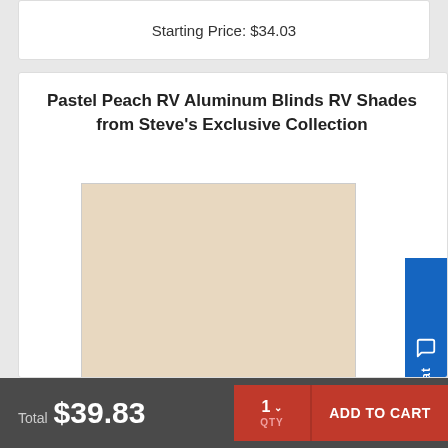Starting Price: $34.03
Pastel Peach RV Aluminum Blinds RV Shades from Steve's Exclusive Collection
[Figure (photo): Pastel peach colored aluminum blind/shade sample, a light beige-peach rectangular swatch]
Total $39.83
1 QTY
ADD TO CART